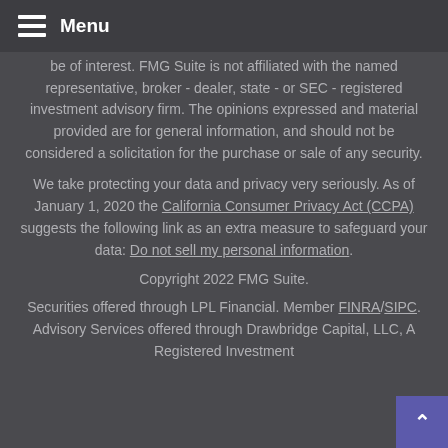Menu
be of interest. FMG Suite is not affiliated with the named representative, broker - dealer, state - or SEC - registered investment advisory firm. The opinions expressed and material provided are for general information, and should not be considered a solicitation for the purchase or sale of any security.
We take protecting your data and privacy very seriously. As of January 1, 2020 the California Consumer Privacy Act (CCPA) suggests the following link as an extra measure to safeguard your data: Do not sell my personal information.
Copyright 2022 FMG Suite.
Securities offered through LPL Financial. Member FINRA/SIPC. Advisory Services offered through Drawbridge Capital, LLC, A Registered Investment